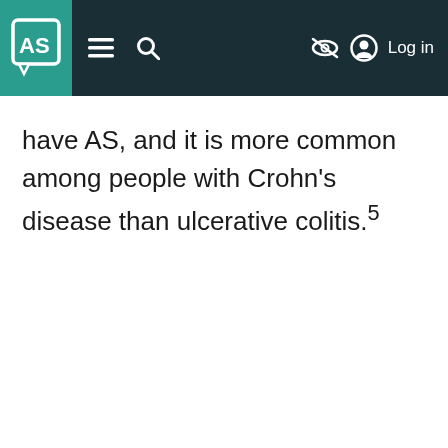AS [logo] — navigation bar with menu, search, accessibility, and Log in
have AS, and it is more common among people with Crohn's disease than ulcerative colitis.5